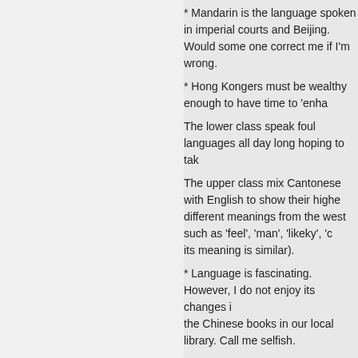* Mandarin is the language spoken in imperial courts and Beijing. Would some one correct me if I'm wrong.
* Hong Kongers must be wealthy enough to have time to 'enha...
The lower class speak foul languages all day long hoping to tak...
The upper class mix Cantonese with English to show their highe... different meanings from the west such as 'feel', 'man', 'likeky', 'c... its meaning is similar).
* Language is fascinating. However, I do not enjoy its changes i... the Chinese books in our local library. Call me selfish.
* The head of Macau gave a laughable speech in front of the he... Cantonese and use a translator or let some one who can speak...
Allen
July 29th, 2011 at 18:31 | #64
@Pete North #44
It's become increasingly difficult to believe that you have actual... are spouting secondhand myths you read on the Internet.
As @JJ noted in #60,
It's not so much that I don't believe what you're saying, b... different from my own experiences.